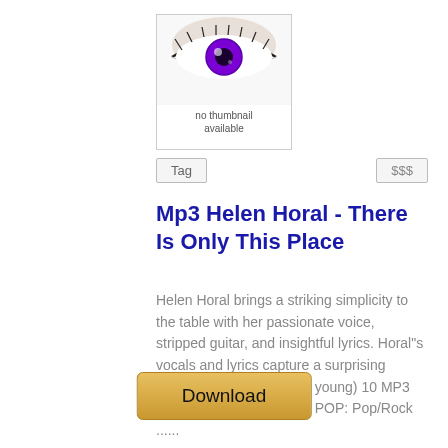[Figure (illustration): Album thumbnail placeholder showing a close-up of an eye with a purple iris against a white background, with 'no thumbnail available' text below it, inside a bordered box.]
Tag
$$$
Mp3 Helen Horal - There Is Only This Place
Helen Horal brings a striking simplicity to the table with her passionate voice, stripped guitar, and insightful lyrics. Horal"s vocals and lyrics capture a surprising maturity (for someone so young) 10 MP3 Songs FOLK: Folk-Rock, POP: Pop/Rock ......
40.5 MB
Download